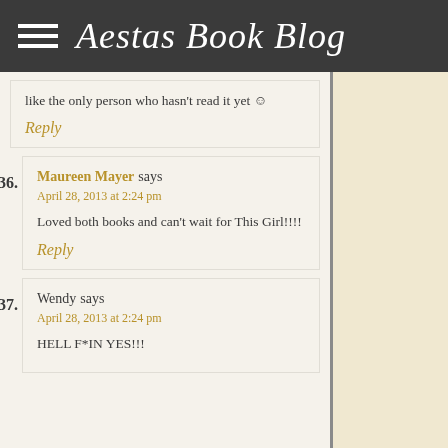Aestas Book Blog
like the only person who hasn't read it yet ☺
Reply
36. Maureen Mayer says
April 28, 2013 at 2:24 pm
Loved both books and can't wait for This Girl!!!!
Reply
37. Wendy says
April 28, 2013 at 2:24 pm
HELL F*IN YES!!!